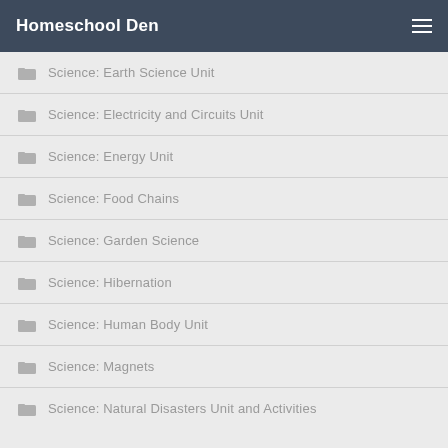Homeschool Den
Science: Earth Science Unit
Science: Electricity and Circuits Unit
Science: Energy Unit
Science: Food Chains
Science: Garden Science
Science: Hibernation
Science: Human Body Unit
Science: Magnets
Science: Natural Disasters Unit and Activities